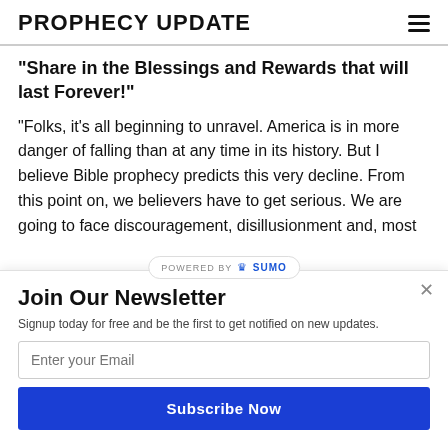PROPHECY UPDATE
"Share in the Blessings and Rewards that will last Forever!"
"Folks, it's all beginning to unravel. America is in more danger of falling than at any time in its history. But I believe Bible prophecy predicts this very decline. From this point on, we believers have to get serious. We are going to face discouragement, disillusionment and, most
Join Our Newsletter
Signup today for free and be the first to get notified on new updates.
Enter your Email
Subscribe Now